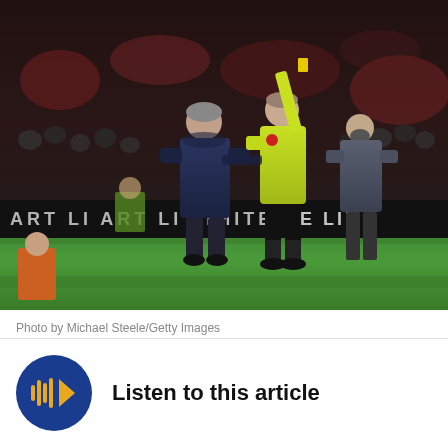[Figure (photo): A football manager (in dark blue puffer jacket) being shown a yellow card by a referee in a yellow jersey on the touchline during a Premier League match at night. Another man in grey jacket stands in background. Advertising boards visible. Crowd in background.]
Photo by Michael Steele/Getty Images
Listen to this article